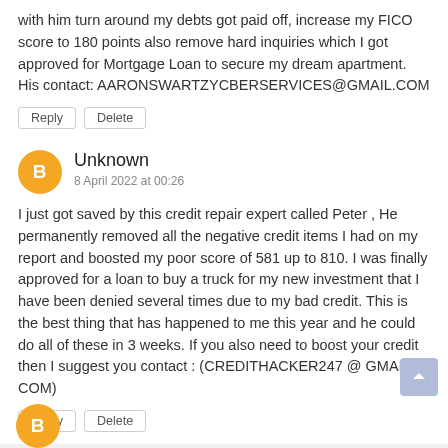with him turn around my debts got paid off, increase my FICO score to 180 points also remove hard inquiries which I got approved for Mortgage Loan to secure my dream apartment. His contact: AARONSWARTZYCBERSERVICES@GMAIL.COM
Reply
Delete
Unknown
8 April 2022 at 00:26
I just got saved by this credit repair expert called Peter , He permanently removed all the negative credit items I had on my report and boosted my poor score of 581 up to 810. I was finally approved for a loan to buy a truck for my new investment that I have been denied several times due to my bad credit. This is the best thing that has happened to me this year and he could do all of these in 3 weeks. If you also need to boost your credit then I suggest you contact : (CREDITHACKER247 @ GMAIL . COM)
Reply
Delete